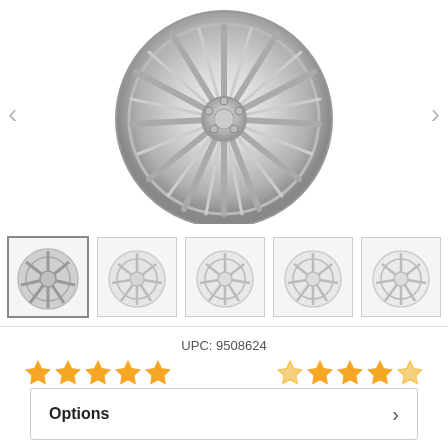[Figure (photo): Large chrome automotive wheel/rim shown from a slight angle, displayed as main product photo with left and right navigation arrows on either side]
[Figure (photo): Row of 5 thumbnail images of chrome automotive wheel from different angles; first thumbnail is selected/highlighted]
UPC: 9508624
[Figure (other): Two sets of star ratings side by side: left set shows 5 filled gold stars (5/5), right set shows 1 filled gold star and 4 outlined/faded stars (approximately 1-2/5)]
Options
Quantity